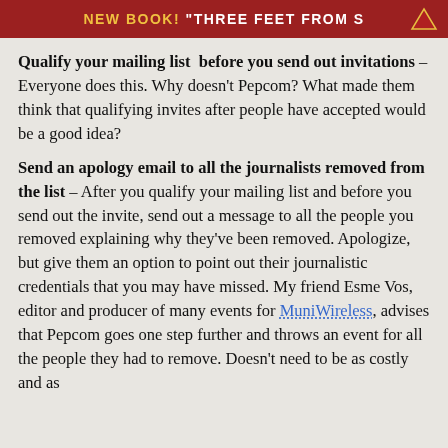NEW BOOK! "THREE FEET FROM S
Qualify your mailing list before you send out invitations – Everyone does this. Why doesn't Pepcom? What made them think that qualifying invites after people have accepted would be a good idea?
Send an apology email to all the journalists removed from the list – After you qualify your mailing list and before you send out the invite, send out a message to all the people you removed explaining why they've been removed. Apologize, but give them an option to point out their journalistic credentials that you may have missed. My friend Esme Vos, editor and producer of many events for MuniWireless, advises that Pepcom goes one step further and throws an event for all the people they had to remove. Doesn't need to be as costly and as